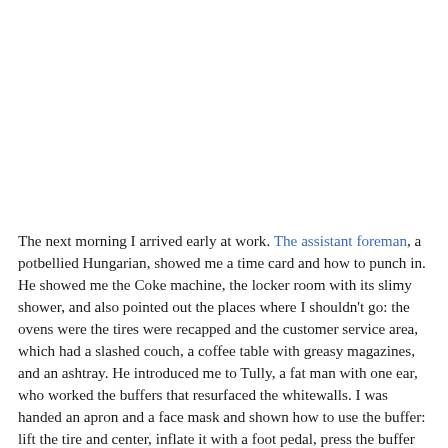The next morning I arrived early at work. The assistant foreman, a potbellied Hungarian, showed me a time card and how to punch in. He showed me the Coke machine, the locker room with its slimy shower, and also pointed out the places where I shouldn't go: the ovens were the tires were recapped and the customer service area, which had a slashed couch, a coffee table with greasy magazines, and an ashtray. He introduced me to Tully, a fat man with one ear, who worked the buffers that resurfaced the whitewalls. I was handed an apron and a face mask and shown how to use the buffer: lift the tire and center, inflate it with a foot pedal, press the buffer against the white band until cleaned, and then deflate and blow off the tire with an air hose.